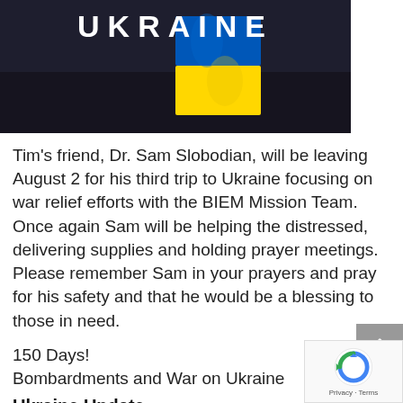[Figure (photo): Dark background image showing Ukraine text in large white bold letters with Ukrainian flag (blue and yellow) visible in the center-right area of the image]
Tim's friend, Dr. Sam Slobodian, will be leaving August 2 for his third trip to Ukraine focusing on war relief efforts with the BIEM Mission Team. Once again Sam will be helping the distressed, delivering supplies and holding prayer meetings. Please remember Sam in your prayers and pray for his safety and that he would be a blessing to those in need.
150 Days!
Bombardments and War on Ukraine
Ukraine Update
From Dr. Sam Slobodian